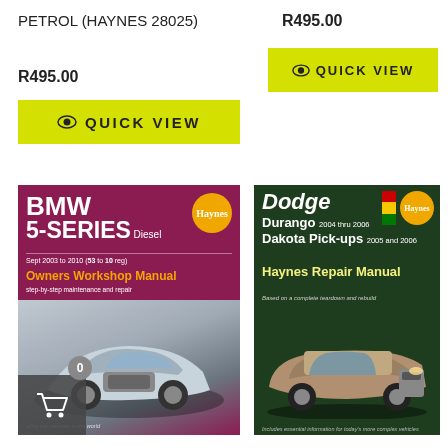PETROL (HAYNES 28025)
R495.00
QUICK VIEW
R495.00
QUICK VIEW
[Figure (photo): BMW 5-Series Diesel Owners Workshop Manual book cover (Haynes 28025). Maroon/purple background with white car image. Title: BMW 5-SERIES Diesel, Sept 2003 to 2010 (53 to 10 reg), Owners Workshop Manual, step-by-step maintenance and repair. Haynes badge top right.]
[Figure (photo): Dodge Durango 2004 thru 2006 / Dakota Pick-ups 2005 and 2006 Haynes Repair Manual book cover. Dark green background with SUV image. Based on a complete teardown and rebuild. Includes essential information for today's more complex vehicles.]